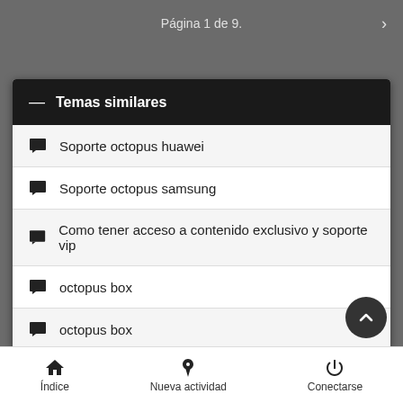Página 1 de 9.
Temas similares
Soporte octopus huawei
Soporte octopus samsung
Como tener acceso a contenido exclusivo y soporte vip
octopus box
octopus box
Índice   Nueva actividad   Conectarse